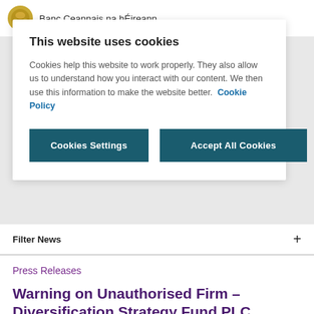Banc Ceannais na hÉireann
This website uses cookies
Cookies help this website to work properly. They also allow us to understand how you interact with our content. We then use this information to make the website better. Cookie Policy
Cookies Settings | Accept All Cookies
Filter News
Press Releases
Warning on Unauthorised Firm – Diversification Strategy Fund PLC (CLONE)